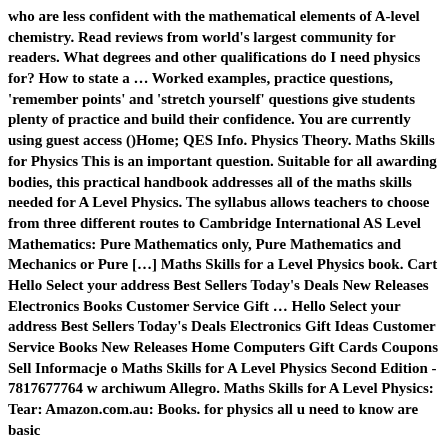who are less confident with the mathematical elements of A-level chemistry. Read reviews from world's largest community for readers. What degrees and other qualifications do I need physics for? How to state a … Worked examples, practice questions, 'remember points' and 'stretch yourself' questions give students plenty of practice and build their confidence. You are currently using guest access ()Home; QES Info. Physics Theory. Maths Skills for Physics This is an important question. Suitable for all awarding bodies, this practical handbook addresses all of the maths skills needed for A Level Physics. The syllabus allows teachers to choose from three different routes to Cambridge International AS Level Mathematics: Pure Mathematics only, Pure Mathematics and Mechanics or Pure […] Maths Skills for a Level Physics book. Cart Hello Select your address Best Sellers Today's Deals New Releases Electronics Books Customer Service Gift … Hello Select your address Best Sellers Today's Deals Electronics Gift Ideas Customer Service Books New Releases Home Computers Gift Cards Coupons Sell Informacje o Maths Skills for A Level Physics Second Edition - 7817677764 w archiwum Allegro. Maths Skills for A Level Physics: Tear: Amazon.com.au: Books. for physics all u need to know are basic